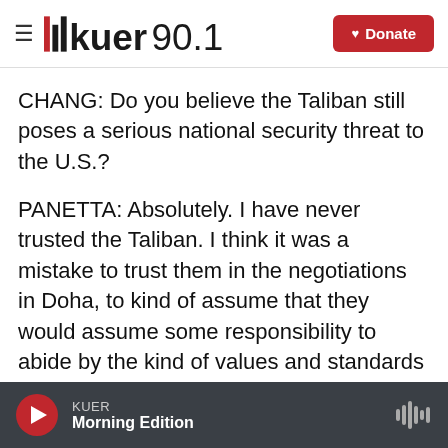KUER 90.1 — Donate
CHANG: Do you believe the Taliban still poses a serious national security threat to the U.S.?
PANETTA: Absolutely. I have never trusted the Taliban. I think it was a mistake to trust them in the negotiations in Doha, to kind of assume that they would assume some responsibility to abide by the kind of values and standards that we would expect. The Taliban are terrorists, and they're going to support terrorists. If they take control of Afghanistan, there is no question in my mind that they will provide a
KUER Morning Edition